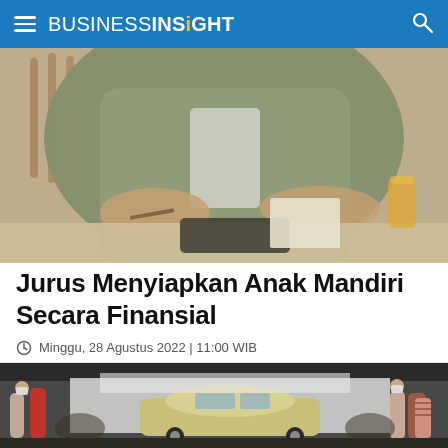BUSINESS INSIGHT
[Figure (photo): Person in olive green jacket sitting at a desk, writing on paper, with a tablet and glass of orange juice in the background — blurred background editorial photo]
Jurus Menyiapkan Anak Mandiri Secara Finansial
Minggu, 28 Agustus 2022 | 11:00 WIB
[Figure (photo): Car showroom or auto expo scene with a light-colored SUV on display, people wearing face masks walking around, indoor event hall setting]